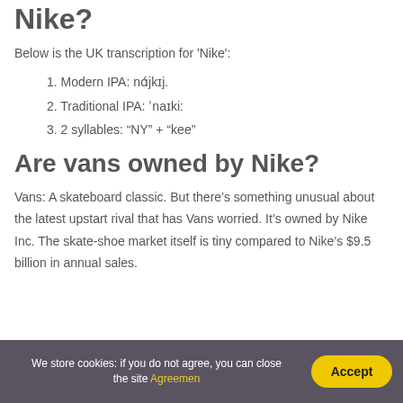Nike?
Below is the UK transcription for 'Nike':
1. Modern IPA: nɑ́jkɪj.
2. Traditional IPA: ˈnaɪki:
3. 2 syllables: "NY" + "kee"
Are vans owned by Nike?
Vans: A skateboard classic. But there's something unusual about the latest upstart rival that has Vans worried. It's owned by Nike Inc. The skate-shoe market itself is tiny compared to Nike's $9.5 billion in annual sales.
We store cookies: if you do not agree, you can close the site Agreemen  Accept